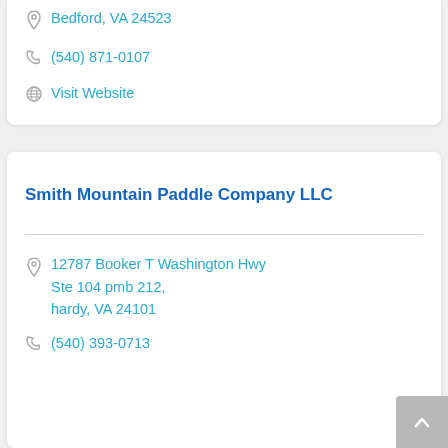Bedford, VA 24523
(540) 871-0107
Visit Website
Smith Mountain Paddle Company LLC
12787 Booker T Washington Hwy Ste 104 pmb 212, hardy, VA 24101
(540) 393-0713